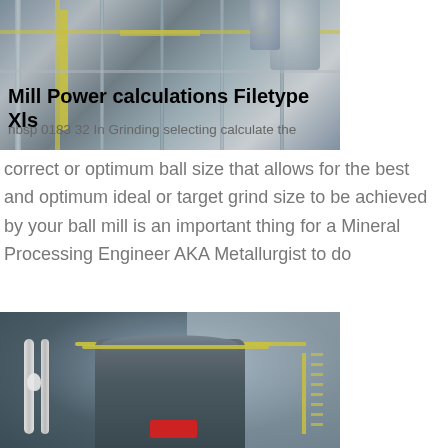[Figure (photo): Industrial mill or processing plant exterior, showing metal structure with yellow railings and industrial equipment against a building facade.]
Mill Power calculations Filetype Xls
nbsp 0183 32  In Grinding selecting calculate the correct or optimum ball size that allows for the best and optimum ideal or target grind size to be achieved by your ball mill is an important thing for a Mineral Processing Engineer AKA Metallurgist to do
[Figure (photo): Large industrial ball mill at a mineral processing facility, showing the cylindrical mill body with yellow safety railings, an owl perched on white pipes at left, and red motor component at the base.]